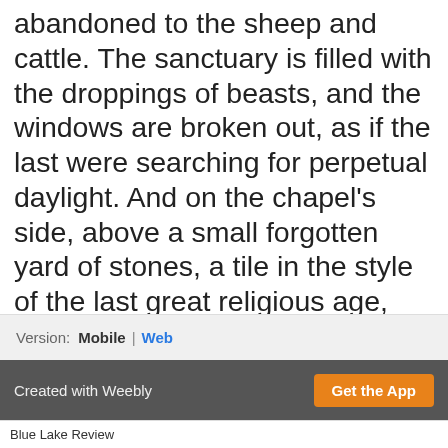abandoned to the sheep and cattle. The sanctuary is filled with the droppings of beasts, and the windows are broken out, as if the last were searching for perpetual daylight. And on the chapel's side, above a small forgotten yard of stones, a tile in the style of the last great religious age, which reads, our bones are here, waiting for yours. Some say, in the end, there are no echoes, only the breath that you cannot exhale.
Version: Mobile | Web
Created with Weebly   Get the App
Blue Lake Review